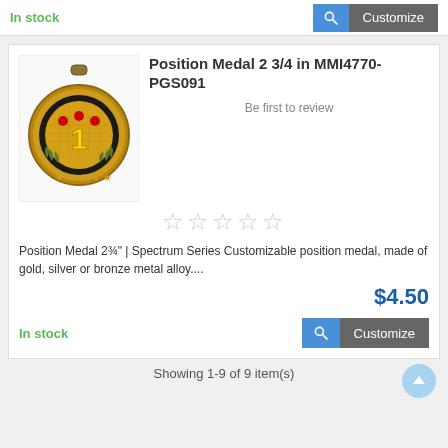In stock
[Figure (screenshot): Search icon and Customize button]
[Figure (photo): Gold Position Medal #1 with stars and laurel wreath design]
Position Medal 2 3/4 in MMI4770-PGS091
Be first to review
[Figure (other): Five empty star rating icons]
Position Medal 2¾" | Spectrum Series Customizable position medal, made of gold, silver or bronze metal alloy....
$4.50
In stock
[Figure (screenshot): Search icon and Customize button]
Showing 1-9 of 9 item(s)